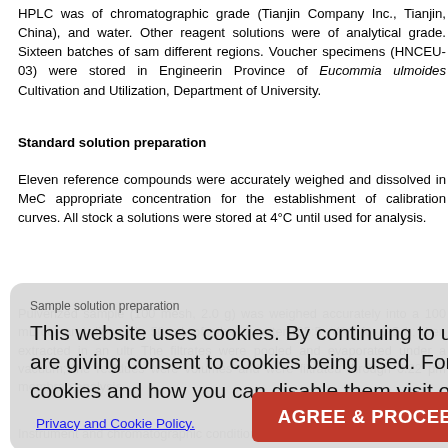HPLC was of chromatographic grade (Tianjin Company Inc., Tianjin, China), and water. Other reagent solutions were of analytical grade. Sixteen batches of samples from different regions. Voucher specimens (HNCEU-03) were stored in Engineering Province of Eucommia ulmoides Cultivation and Utilization, Department of University.
Standard solution preparation
Eleven reference compounds were accurately weighed and dissolved in MeOH at appropriate concentration for the establishment of calibration curves. All stock and solutions were stored at 4°C until used for analysis.
Sample solution preparation
Pulverized sample (100 mesh, 2.0 g) was weighed accurately into a 100 mL conical flask and dipped in 50 mL of ethanol-water (95:5, V/V) for 0.5 h; then extracted in an ultrasonic bath. The filtrates were pooled and evaporated under a vacuum; the residues were reconstituted in volumes and were filtrated through 0.22 μm membrane filters prior to analysis.
Instrument and chromatographic conditions
The chromatographic separation was performed on Shimadezu LC-10A, equipped with a pump, an autosampler, a UV (SPD-10A) detector and a chemstation software program for analysis of the HPLC data. Thermal reversed-phase column (250 mm × 4.6 mm, 5
This website uses cookies. By continuing to use this website you are giving consent to cookies being used. For information on cookies and how you can disable them visit our
Privacy and Cookie Policy.
AGREE & PROCEED